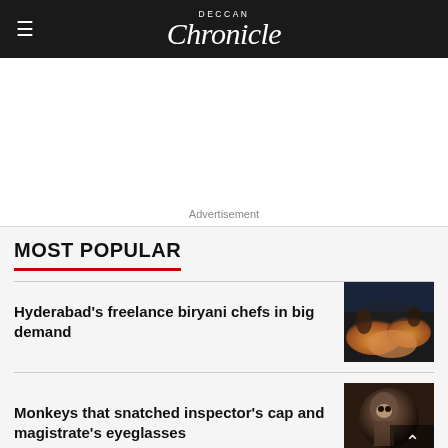Deccan Chronicle
Advertisement
MOST POPULAR
Hyderabad's freelance biryani chefs in big demand
[Figure (photo): Biryani being served on plates]
Monkeys that snatched inspector's cap and magistrate's eyeglasses
[Figure (photo): Monkey on a surface]